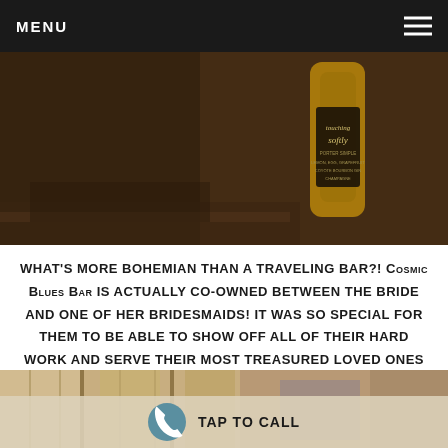MENU
[Figure (photo): Close-up photo of a bar cocktail shaker or bottle with handwritten script menu text visible on a dark label, warm brown tones background]
What's more bohemian than a traveling bar?! Cosmic Blues Bar is actually co-owned between the bride and one of her bridesmaids! It was so special for them to be able to show off all of their hard work and serve their most treasured loved ones their very own drinks! Peep the Bar Menu for a sneak peak into their drinks and some lettering by Blue Honey Design Co.
[Figure (photo): Partial photo of bar setup with warm golden and light tones, bohemian wedding style]
Tap To Call